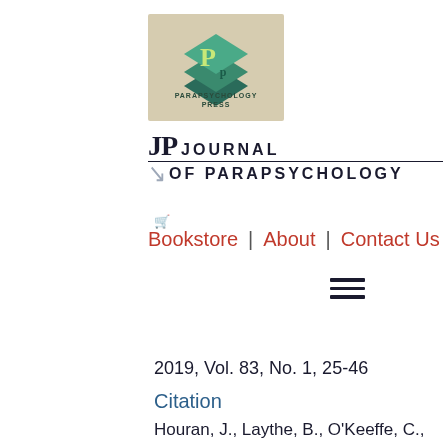[Figure (logo): Parapsychology Press logo with stylized 'P' letters in green/teal diamond shapes with text 'PARAPSYCHOLOGY PRESS' below]
JP JOURNAL OF PARAPSYCHOLOGY
Bookstore | About | Contact Us
2019, Vol. 83, No. 1, 25-46
Citation
Houran, J., Laythe, B., O'Keeffe, C., Dagnall, N., Drinkwater, K., and Lange, R. (2019).